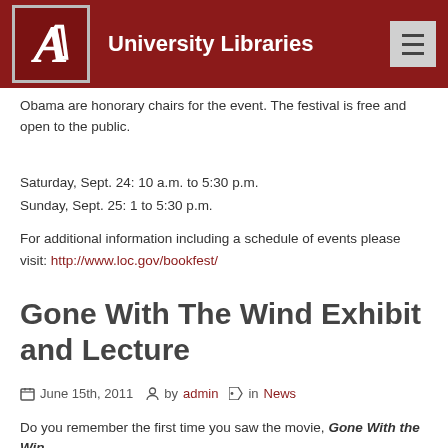University Libraries
Obama are honorary chairs for the event. The festival is free and open to the public.
Saturday, Sept. 24: 10 a.m. to 5:30 p.m.
Sunday, Sept. 25: 1 to 5:30 p.m.
For additional information including a schedule of events please visit: http://www.loc.gov/bookfest/
Gone With The Wind Exhibit and Lecture
June 15th, 2011  by admin  in News
Do you remember the first time you saw the movie, Gone With the Wind?